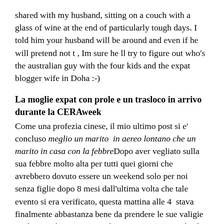shared with my husband, sitting on a couch with a glass of wine at the end of particularly tough days. I told him your husband will be around and even if he will pretend not t , Im sure he ll try to figure out who's the australian guy with the four kids and the expat blogger wife in Doha :-)
La moglie expat con prole e un trasloco in arrivo durante la CERAweek
Come una profezia cinese, il mio ultimo post si e' concluso meglio un marito in aereo lontano che un marito in casa con la febbreDopo aver vegliato sulla sua febbre molto alta per tutti quei giorni che avrebbero dovuto essere un weekend solo per noi senza figlie dopo 8 mesi dall'ultima volta che tale evento si era verificato, questa mattina alle 4 stava finalmente abbastanza bene da prendere le sue valigie etichettate da Senator e andare in aeroporto per il solito GVA-FRA, questa volta con destinazione finale Houston: come ogni marzo, questa settimana un sacco di persone che lavoro nell'oil&gas in tutto il mondo si riuniscono per la conferenza Cera e le loro mogli si ritrovano da sole a gestire la prole per tutta la settimana (di solito tanti bambini, ci deve essere una prova scientifica che gli espatriati sono più prolifici delle coppie con base interna alla nazione, almeno parlo per gli